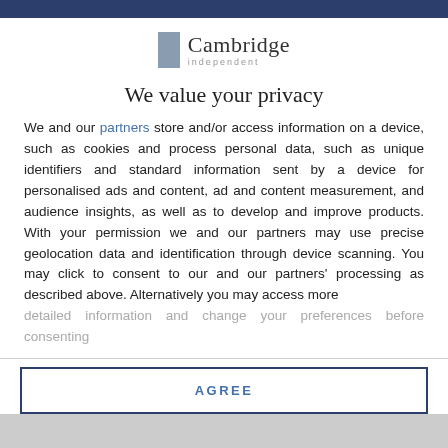[Figure (logo): Cambridge Independent logo with grey rectangle icon and serif Cambridge text with 'independent' subtitle]
We value your privacy
We and our partners store and/or access information on a device, such as cookies and process personal data, such as unique identifiers and standard information sent by a device for personalised ads and content, ad and content measurement, and audience insights, as well as to develop and improve products. With your permission we and our partners may use precise geolocation data and identification through device scanning. You may click to consent to our and our partners' processing as described above. Alternatively you may access more detailed information and change your preferences before consenting
AGREE
MORE OPTIONS